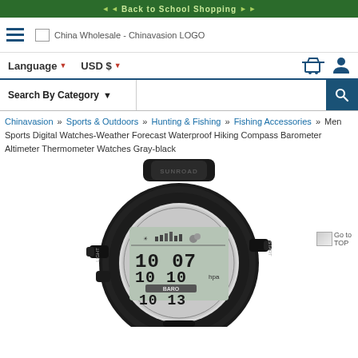Back to School Shopping
[Figure (logo): China Wholesale - Chinavasion LOGO with hamburger menu icon]
Language ▼   USD $ ▼
Search By Category ▼ [search bar with magnifying glass]
Chinavasion » Sports & Outdoors » Hunting & Fishing » Fishing Accessories » Men Sports Digital Watches-Weather Forecast Waterproof Hiking Compass Barometer Altimeter Thermometer Watches Gray-black
[Figure (photo): Sunroad brand digital sports watch with dark gray/black case, showing barometric pressure display reading 1007 10 hpa with BARO label, and 10 13 at bottom. Features LIGHT button on left, START button on right, compass bezel ring around face.]